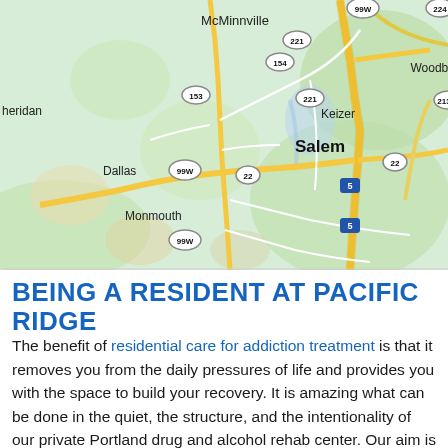[Figure (map): Google Maps screenshot showing the Salem, Oregon area including surrounding cities: McMinnville, Woodburn, Colton, Sheridan, Keizer, Silverton, Dallas, Monmouth, Sublimity, Stayton, Lyons, Mill City, Santiam. Roads including 99W, 221, 154, 153, 213, 22, 214, and Interstate 5 are visible.]
BEING A RESIDENT AT PACIFIC RIDGE
The benefit of residential care for addiction treatment is that it removes you from the daily pressures of life and provides you with the space to build your recovery. It is amazing what can be done in the quiet, the structure, and the intentionality of our private Portland drug and alcohol rehab center. Our aim is to treat addiction and develop new skills in our clients to help them